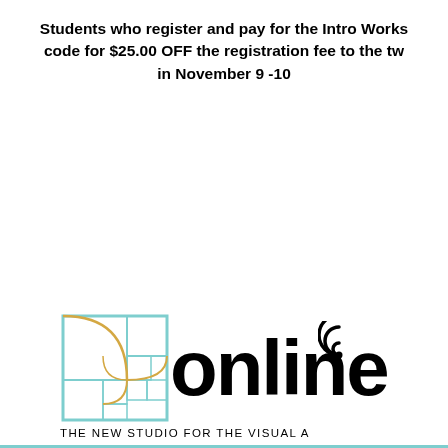Students who register and pay for the Intro Works code for $25.00 OFF the registration fee to the tw in November 9 -10
[Figure (logo): Online New Studio logo with teal Fibonacci spiral square icon and bold 'online' text with wifi signal icon above the 'i', tagline 'THE NEW STUDIO FOR THE VISUAL A' below, with a teal horizontal rule]